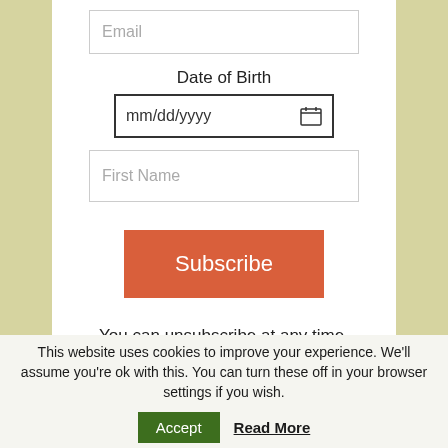[Figure (screenshot): Email input field with placeholder text 'Email']
Date of Birth
[Figure (screenshot): Date input field with mm/dd/yyyy placeholder and calendar icon]
[Figure (screenshot): First Name input field with placeholder text 'First Name']
[Figure (screenshot): Orange Subscribe button]
You can unsubscribe at any time.
This website uses cookies to improve your experience. We'll assume you're ok with this. You can turn these off in your browser settings if you wish.
[Figure (screenshot): Accept button (green) and Read More link]